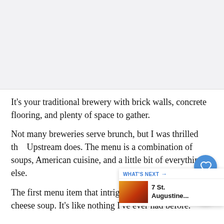[Figure (photo): Light gray image placeholder area at top of page]
It’s your traditional brewery with brick walls, concrete flooring, and plenty of space to gather.
Not many breweries serve brunch, but I was thrilled that Upstream does. The menu is a combination of soups, American cuisine, and a little bit of everything else.
The first menu item that intrigued me was the beer cheese soup. It’s like nothing I’ve ever had before.